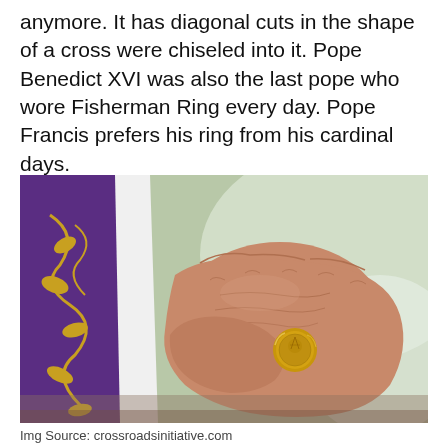anymore. It has diagonal cuts in the shape of a cross were chiseled into it. Pope Benedict XVI was also the last pope who wore Fisherman Ring every day. Pope Francis prefers his ring from his cardinal days.
[Figure (photo): Close-up photograph of an elderly person's hands clasped together, wearing a gold ring with an engraved figure (cardinal ring), dressed in purple and white vestments with gold embroidery.]
Img Source: crossroadsinitiative.com